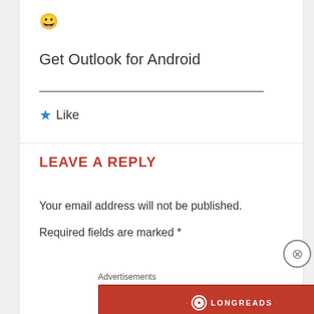[Figure (illustration): Smiley face emoji (grinning face)]
Get Outlook for Android
Like
LEAVE A REPLY
Your email address will not be published.
Required fields are marked *
Advertisements
[Figure (logo): Longreads advertisement banner: The best stories on the web — ours, and everyone else's.]